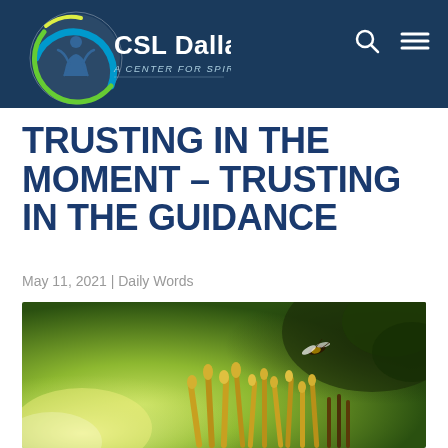CSL Dallas – A Center for Spiritual Living
TRUSTING IN THE MOMENT – TRUSTING IN THE GUIDANCE
May 11, 2021 | Daily Words
[Figure (photo): Close-up nature photo showing a bee flying above yellow flower stamens/pistils with a blurred green background]